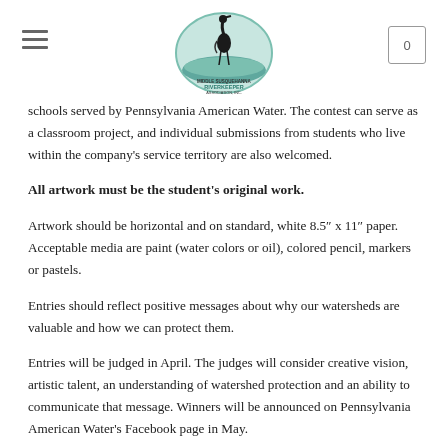[Figure (logo): Middle Susquehanna Riverkeeper Association, Inc. logo with a heron bird standing on water with blue-green water design]
schools served by Pennsylvania American Water. The contest can serve as a classroom project, and individual submissions from students who live within the company's service territory are also welcomed.
All artwork must be the student's original work.
Artwork should be horizontal and on standard, white 8.5″ x 11″ paper. Acceptable media are paint (water colors or oil), colored pencil, markers or pastels.
Entries should reflect positive messages about why our watersheds are valuable and how we can protect them.
Entries will be judged in April. The judges will consider creative vision, artistic talent, an understanding of watershed protection and an ability to communicate that message. Winners will be announced on Pennsylvania American Water's Facebook page in May.